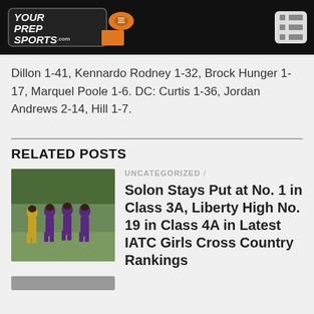[Figure (logo): YourPrepSports.com logo with menu icon on black header bar]
Dillon 1-41, Kennardo Rodney 1-32, Brock Hunger 1-17, Marquel Poole 1-6. DC: Curtis 1-36, Jordan Andrews 2-14, Hill 1-7.
RELATED POSTS
[Figure (photo): Photo of cross country runners in purple and gold uniforms]
UNCATEGORIZED /
Solon Stays Put at No. 1 in Class 3A, Liberty High No. 19 in Class 4A in Latest IATC Girls Cross Country Rankings